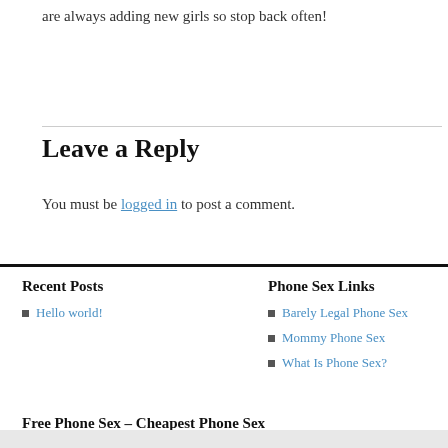are always adding new girls so stop back often!
Leave a Reply
You must be logged in to post a comment.
Recent Posts
Hello world!
Phone Sex Links
Barely Legal Phone Sex
Mommy Phone Sex
What Is Phone Sex?
Free Phone Sex – Cheapest Phone Sex